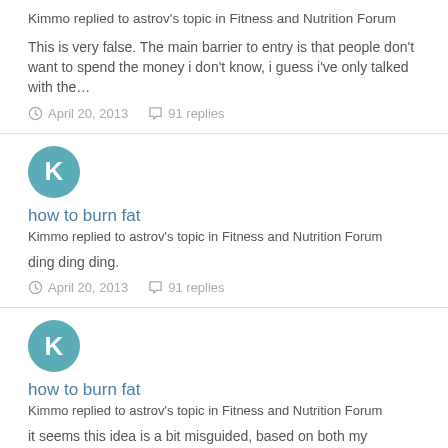Kimmo replied to astrov's topic in Fitness and Nutrition Forum
This is very false. The main barrier to entry is that people don't want to spend the money i don't know, i guess i've only talked with the...
April 20, 2013   91 replies
how to burn fat
Kimmo replied to astrov's topic in Fitness and Nutrition Forum
ding ding ding.
April 20, 2013   91 replies
how to burn fat
Kimmo replied to astrov's topic in Fitness and Nutrition Forum
it seems this idea is a bit misguided, based on both my readings